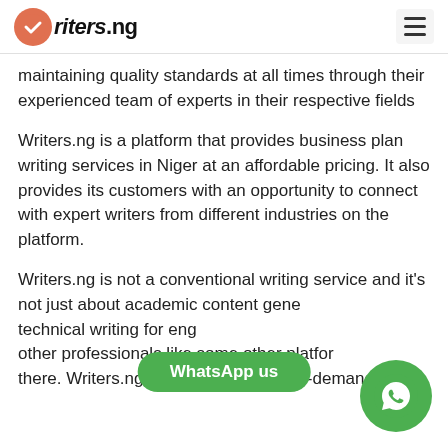Writers.ng
maintaining quality standards at all times through their experienced team of experts in their respective fields
Writers.ng is a platform that provides business plan writing services in Niger at an affordable pricing. It also provides its customers with an opportunity to connect with expert writers from different industries on the platform.
Writers.ng is not a conventional writing service and it's not just about academic content generation, technical writing for engineers, or other professionals like some other platforms out there. Writers.ng combines all these in-demand